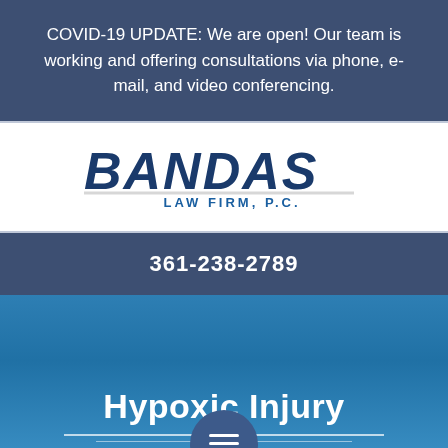COVID-19 UPDATE: We are open! Our team is working and offering consultations via phone, e-mail, and video conferencing.
[Figure (logo): Bandas Law Firm, P.C. logo with bold dark blue BANDAS text and lighter blue LAW FIRM, P.C. subtitle]
361-238-2789
Hypoxic Injury